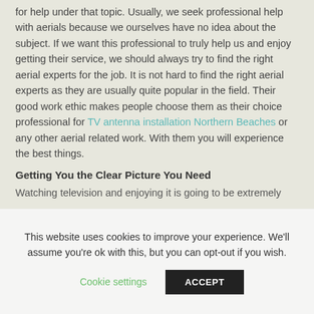for help under that topic. Usually, we seek professional help with aerials because we ourselves have no idea about the subject. If we want this professional to truly help us and enjoy getting their service, we should always try to find the right aerial experts for the job. It is not hard to find the right aerial experts as they are usually quite popular in the field. Their good work ethic makes people choose them as their choice professional for TV antenna installation Northern Beaches or any other aerial related work. With them you will experience the best things.
Getting You the Clear Picture You Need
Watching television and enjoying it is going to be extremely
This website uses cookies to improve your experience. We'll assume you're ok with this, but you can opt-out if you wish.